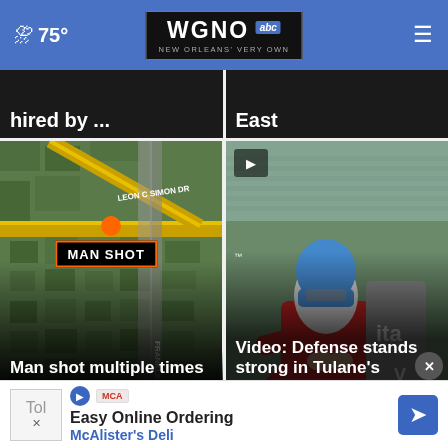WGNO abc — NEW ORLEANS' VERY OWN — 75°
[Figure (screenshot): Partial news card: '...hired by ...' on dark background]
[Figure (screenshot): Partial news card: '...East' on dark background]
[Figure (map): Aerial map showing intersection with MAN SHOT label, Leon C Simon Dr and Franklin street labels, yellow road lines]
Man shot multiple times in Lakeview Terrace
[Figure (photo): Video thumbnail: Tulane football player in red jersey and blue helmet clapping hands at practice]
Video: Defense stands strong in Tulane's second fall...
[Figure (infographic): Advertisement: Easy Online Ordering — McAlister's Deli with play icon, MCA badge, and blue direction arrow icon]